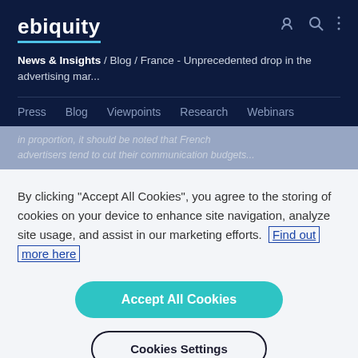ebiquity
News & Insights / Blog / France - Unprecedented drop in the advertising mar...
Press  Blog  Viewpoints  Research  Webinars
in proportion, it should be noted that French advertisers tend to cut their communication budgets...
By clicking "Accept All Cookies", you agree to the storing of cookies on your device to enhance site navigation, analyze site usage, and assist in our marketing efforts. Find out more here
Accept All Cookies
Cookies Settings